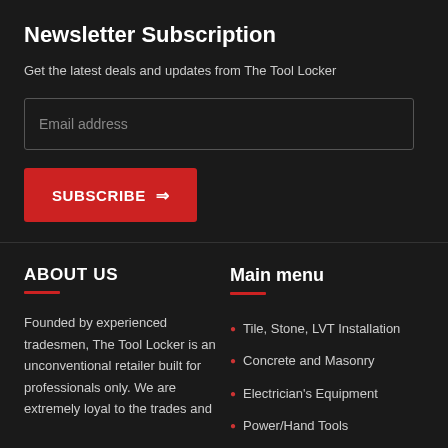Newsletter Subscription
Get the latest deals and updates from The Tool Locker
Email address
SUBSCRIBE →
ABOUT US
Main menu
Founded by experienced tradesmen, The Tool Locker is an unconventional retailer built for professionals only. We are extremely loyal to the trades and
Tile, Stone, LVT Installation
Concrete and Masonry
Electrician's Equipment
Power/Hand Tools